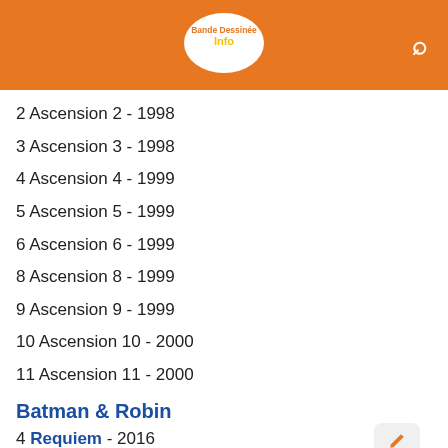Bande Dessinée Info
2 Ascension 2 - 1998
3 Ascension 3 - 1998
4 Ascension 4 - 1999
5 Ascension 5 - 1999
6 Ascension 6 - 1999
8 Ascension 8 - 1999
9 Ascension 9 - 1999
10 Ascension 10 - 2000
11 Ascension 11 - 2000
Batman & Robin
4 Requiem - 2016
Batman No Man's Land
3 Batman No Man's Land 3 - 2014
5 Batman No Man's Land 5 - [social bar overlay]
6 Batman No Man's Land 6 - 2015
Batman Saga